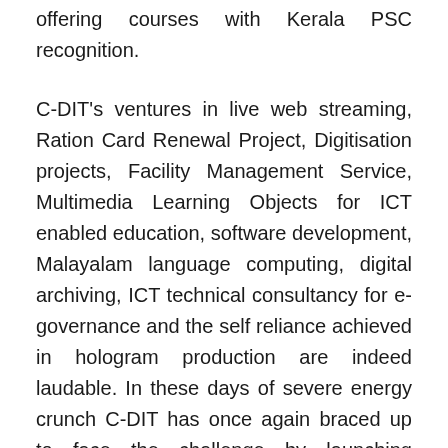become an integral part of IT education in the State, offering courses with Kerala PSC recognition.
C-DIT's ventures in live web streaming, Ration Card Renewal Project, Digitisation projects, Facility Management Service, Multimedia Learning Objects for ICT enabled education, software development, Malayalam language computing, digital archiving, ICT technical consultancy for e-governance and the self reliance achieved in hologram production are indeed laudable. In these days of severe energy crunch C-DIT has once again braced up to face the challenge by launching projects focusing green energy technologies, especially renewable solar energy resources etc..